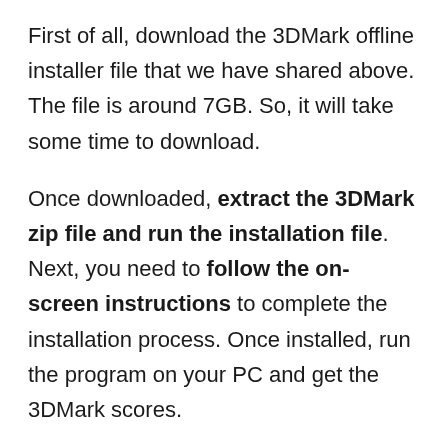First of all, download the 3DMark offline installer file that we have shared above. The file is around 7GB. So, it will take some time to download.
Once downloaded, extract the 3DMark zip file and run the installation file. Next, you need to follow the on-screen instructions to complete the installation process. Once installed, run the program on your PC and get the 3DMark scores.
So, this guide is all about downloading the 3DMark offline installer for PC. I hope this article